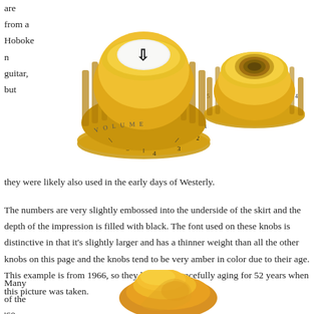are from a Hoboken guitar, but they were likely also used in the early days of Westerly.
[Figure (photo): Two amber/gold guitar knobs, one volume knob on the left and one tone knob on the right, both showing numbers embossed on the skirt with black fill]
The numbers are very slightly embossed into the underside of the skirt and the depth of the impression is filled with black. The font used on these knobs is distinctive in that it’s slightly larger and has a thinner weight than all the other knobs on this page and the knobs tend to be very amber in color due to their age. This example is from 1966, so they had been gracefully aging for 52 years when this picture was taken.
Many of the ’60s knobs
[Figure (photo): Partial view of an amber/golden colored guitar knob at the bottom right of the page]